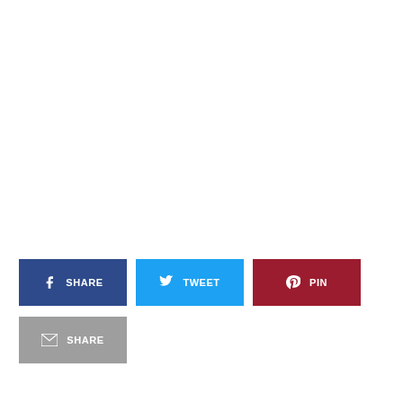[Figure (infographic): Social share buttons: Facebook SHARE (dark blue), Twitter TWEET (sky blue), Pinterest PIN (dark red), and Email SHARE (gray)]